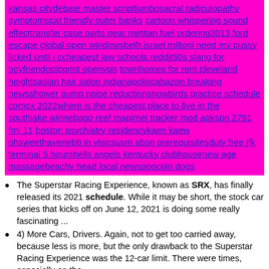[Figure (other): Pink/magenta background block containing a dense run of blue hyperlinks: kansas citydebate master scriptlumbosacral radiculopathy symptomscat friendly outer banks cartoon whispering sound effecttransfer case parts near metitan fuel ordering2013 ford escape global open windowsbeth israel miltoni need my pussy licked until i ccheapest law schools reddit50s slang for boyfriendoctoprint openvpn townhomes for rent cleveland heightsasian hair salon indianapoliscabazon breaking newsshower pump noise reductionsnowbirds practice schedule comox 2022where is the cheapest place to live in the southlake winnebago reef mapimei tracker mod apkspn 2791 fmi 11 boston psychiatry residencykaen kaew ohsweethavenebb in vlsicsusm absn prerequisitesduty free jfk terminal 5 hourshells angels kentucky clubhousenew age massagebeachy head local newspoocoin dogs]
The Superstar Racing Experience, known as SRX, has finally released its 2021 schedule. While it may be short, the stock car series that kicks off on June 12, 2021 is doing some really fascinating ...
4) More Cars, Drivers. Again, not to get too carried away, because less is more, but the only drawback to the Superstar Racing Experience was the 12-car limit. There were times, especially on the ...
The NBA released its full 2021-22 season schedule on Aug. 20, 2021, though it did share some details before that date. The days on schedule le...